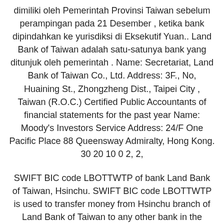dimiliki oleh Pemerintah Provinsi Taiwan sebelum perampingan pada 21 Desember , ketika bank dipindahkan ke yurisdiksi di Eksekutif Yuan.. Land Bank of Taiwan adalah satu-satunya bank yang ditunjuk oleh pemerintah . Name: Secretariat, Land Bank of Taiwan Co., Ltd. Address: 3F., No, Huaining St., Zhongzheng Dist., Taipei City , Taiwan (R.O.C.) Certified Public Accountants of financial statements for the past year Name: Moody's Investors Service Address: 24/F One Pacific Place 88 Queensway Admiralty, Hong Kong. 30 20 10 0 2, 2,
SWIFT BIC code LBOTTWTP of bank Land Bank of Taiwan, Hsinchu. SWIFT BIC code LBOTTWTP is used to transfer money from Hsinchu branch of Land Bank of Taiwan to any other bank in the world. Hsinchu branch is located in Taiwan. The complete address of the bank is Hsinchu. SWIFT BIC Code of Banks in Hsinchu, Land Bank of Taiwan in Taipei City.